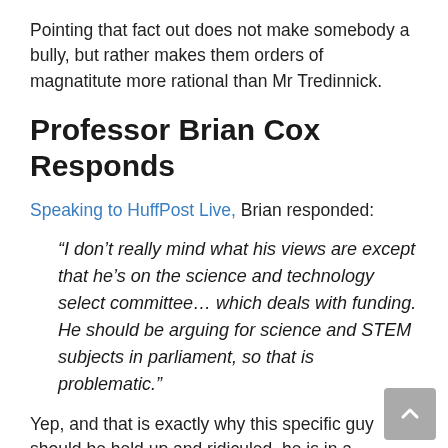Pointing that fact out does not make somebody a bully, but rather makes them orders of magnatitute more rational than Mr Tredinnick.
Professor Brian Cox Responds
Speaking to HuffPost Live, Brian responded:
“I don’t really mind what his views are except that he’s on the science and technology select committee… which deals with funding. He should be arguing for science and STEM subjects in parliament, so that is problematic.”
Yep, and that is exactly why this specific guy should be held up and ridiculed, he is in a